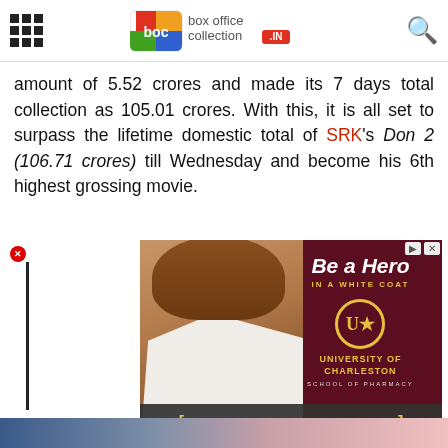[Figure (logo): Box Office Collection .IN logo with colorful boc badge and grid/search icons]
amount of 5.52 crores and made its 7 days total collection as 105.01 crores. With this, it is all set to surpass the lifetime domestic total of SRK's Don 2 (106.71 crores) till Wednesday and become his 6th highest grossing movie.
[Figure (photo): Advertisement for University of Charleston School of Pharmacy. Shows a woman in a white lab coat smiling. Text: Be a Hero IN A WHITE COAT, UC University of Charleston School of Pharmacy. Bottom bar: Earn your Pharmacy Degree Here — Accredited Pharmacy Program on the campus of UCWV]